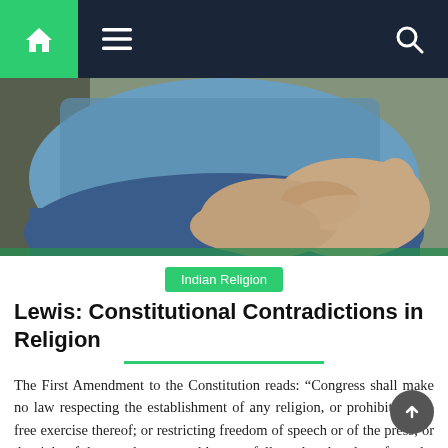Navigation bar with home, menu, and search icons
[Figure (photo): Close-up photo of a person sitting with hands clasped together, wearing a blue patterned shirt and jeans]
Indian Religion
Lewis: Constitutional Contradictions in Religion
The First Amendment to the Constitution reads: “Congress shall make no law respecting the establishment of any religion, or prohibiting the free exercise thereof; or restricting freedom of speech or of the press; or the right of the people to assemble peacefully and seek redress from the government for their grievances. Simple enough, right? Well